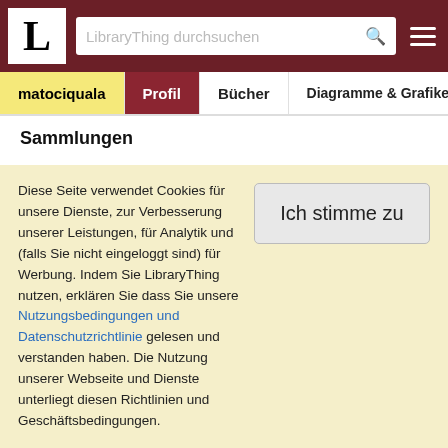LibraryThing - L logo and search bar
matociquala | Profil | Bücher | Diagramme & Grafiken | Reze
Sammlungen
Alle Sammlungen (1,047), Deine Bibliothek (1,047), Noch zu lesen (135), Favoriten (54)
Tags
tbr (135), fantasy (105), reference (92), contemporary (60), favorite (52), science fiction (46), YA (40), signed (37), elizabethan (35), graphic (35), children's (32), history (31), folklore (28), animals (26),
Diese Seite verwendet Cookies für unsere Dienste, zur Verbesserung unserer Leistungen, für Analytik und (falls Sie nicht eingeloggt sind) für Werbung. Indem Sie LibraryThing nutzen, erklären Sie dass Sie unsere Nutzungsbedingungen und Datenschutzrichtlinie gelesen und verstanden haben. Die Nutzung unserer Webseite und Dienste unterliegt diesen Richtlinien und Geschäftsbedingungen.